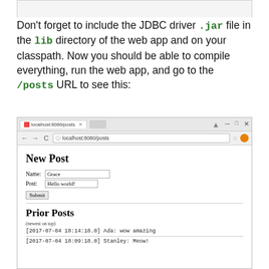Don't forget to include the JDBC driver .jar file in the lib directory of the web app and on your classpath. Now you should be able to compile everything, run the web app, and go to the /posts URL to see this:
[Figure (screenshot): Browser screenshot showing localhost:8080/posts with a 'New Post' form (Name: Grace, Post: Hello world!, Submit button) and 'Prior Posts' section with entries for Ada and Stanley]